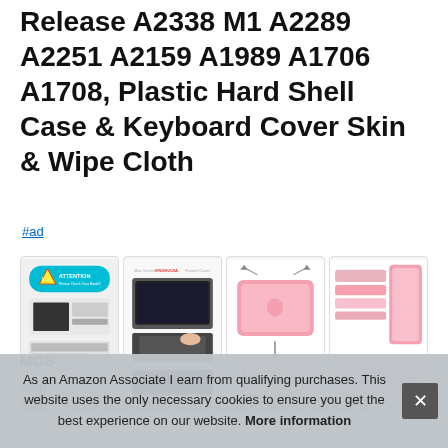Release A2338 M1 A2289 A2251 A2159 A1989 A1706 A1708, Plastic Hard Shell Case & Keyboard Cover Skin & Wipe Cloth
#ad
[Figure (photo): Four product thumbnail images showing MacBook case product details including attention warning label, laptop assembly, pink hard case, and case components]
MOS
weig... weig...
As an Amazon Associate I earn from qualifying purchases. This website uses the only necessary cookies to ensure you get the best experience on our website. More information